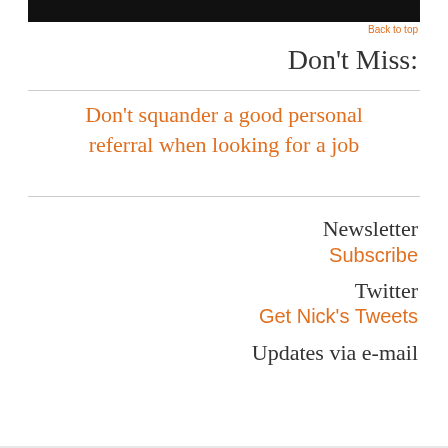Back to top
Don't Miss:
Don't squander a good personal referral when looking for a job
Newsletter
Subscribe
Twitter
Get Nick's Tweets
Updates via e-mail
[Figure (logo): Infolinks advertisement bar with SmartPak logo and product image]